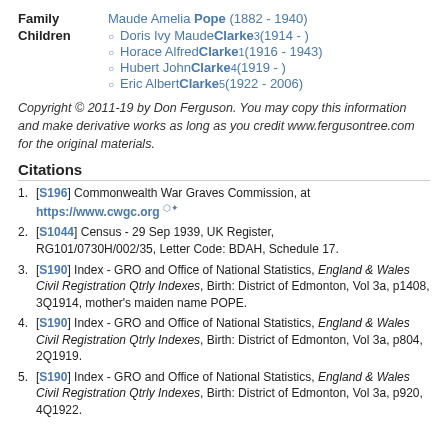| Label | Content |
| --- | --- |
| Family | Maude Amelia Pope (1882 - 1940) |
| Children | Doris Ivy Maude Clarke3 (1914 - ) | Horace Alfred Clarke1 (1916 - 1943) | Hubert John Clarke4 (1919 - ) | Eric Albert Clarke5 (1922 - 2006) |
Copyright © 2011-19 by Don Ferguson. You may copy this information and make derivative works as long as you credit www.fergusontree.com for the original materials.
Citations
[S196] Commonwealth War Graves Commission, at https://www.cwgc.org
[S1044] Census - 29 Sep 1939, UK Register, RG101/0730H/002/35, Letter Code: BDAH, Schedule 17.
[S190] Index - GRO and Office of National Statistics, England & Wales Civil Registration Qtrly Indexes, Birth: District of Edmonton, Vol 3a, p1408, 3Q1914, mother's maiden name POPE.
[S190] Index - GRO and Office of National Statistics, England & Wales Civil Registration Qtrly Indexes, Birth: District of Edmonton, Vol 3a, p804, 2Q1919.
[S190] Index - GRO and Office of National Statistics, England & Wales Civil Registration Qtrly Indexes, Birth: District of Edmonton, Vol 3a, p920, 4Q1922.